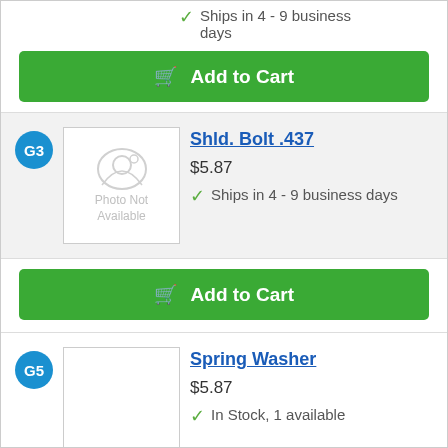Ships in 4 - 9 business days
Add to Cart
G3
[Figure (photo): Photo Not Available placeholder image for Shld. Bolt .437]
Shld. Bolt .437
$5.87
Ships in 4 - 9 business days
Add to Cart
G5
[Figure (photo): Blank product image for Spring Washer]
Spring Washer
$5.87
In Stock, 1 available
Add to Cart